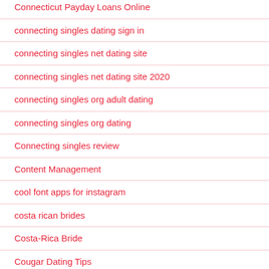Connecticut Payday Loans Online
connecting singles dating sign in
connecting singles net dating site
connecting singles net dating site 2020
connecting singles org adult dating
connecting singles org dating
Connecting singles review
Content Management
cool font apps for instagram
costa rican brides
Costa-Rica Bride
Cougar Dating Tips
cougar life dating review
cougar life net dating site